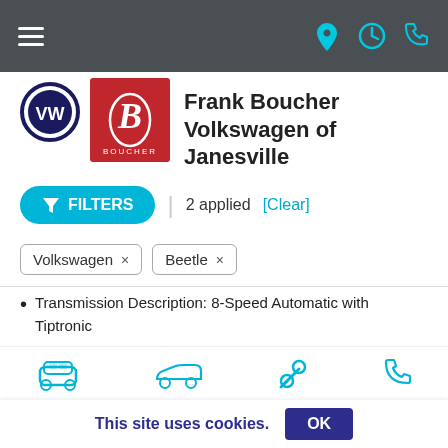Frank Boucher Volkswagen of Janesville — navigation bar
[Figure (logo): VW (Volkswagen) circular logo in black and white]
[Figure (logo): Boucher red square logo with stylized B]
Frank Boucher Volkswagen of Janesville
FILTERS | 2 applied [Clear]
Volkswagen ×
Beetle ×
Transmission Description: 8-Speed Automatic with Tiptronic
Fuel Economy: 16/22
Exterior Color: Pure White
CARFAX One-Owner. Clean CARFAX. Third Row Seating!, So Much Interior Space!, Automatic temperature control, Compass, Front fog
This site uses cookies. OK